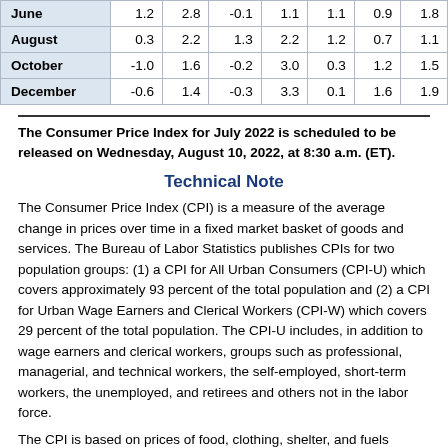|  |  |  |  |  |  |  |  |
| --- | --- | --- | --- | --- | --- | --- | --- |
| June | 1.2 | 2.8 | -0.1 | 1.1 | 1.1 | 0.9 | 1.8 |
| August | 0.3 | 2.2 | 1.3 | 2.2 | 1.2 | 0.7 | 1.1 |
| October | -1.0 | 1.6 | -0.2 | 3.0 | 0.3 | 1.2 | 1.5 |
| December | -0.6 | 1.4 | -0.3 | 3.3 | 0.1 | 1.6 | 1.9 |
The Consumer Price Index for July 2022 is scheduled to be released on Wednesday, August 10, 2022, at 8:30 a.m. (ET).
Technical Note
The Consumer Price Index (CPI) is a measure of the average change in prices over time in a fixed market basket of goods and services. The Bureau of Labor Statistics publishes CPIs for two population groups: (1) a CPI for All Urban Consumers (CPI-U) which covers approximately 93 percent of the total population and (2) a CPI for Urban Wage Earners and Clerical Workers (CPI-W) which covers 29 percent of the total population. The CPI-U includes, in addition to wage earners and clerical workers, groups such as professional, managerial, and technical workers, the self-employed, short-term workers, the unemployed, and retirees and others not in the labor force.
The CPI is based on prices of food, clothing, shelter, and fuels